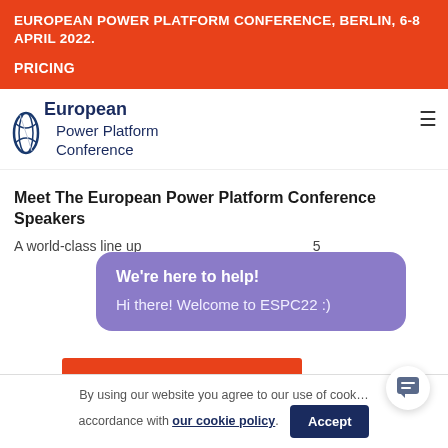EUROPEAN POWER PLATFORM CONFERENCE, BERLIN, 6-8 APRIL 2022.
PRICING
[Figure (logo): European Power Platform Conference logo with stylized spiral/globe icon and text]
Meet The European Power Platform Conference Speakers
A world-class line up ...
We're here to help! Hi there! Welcome to ESPC22 :)
By using our website you agree to our use of cookies in accordance with our cookie policy.